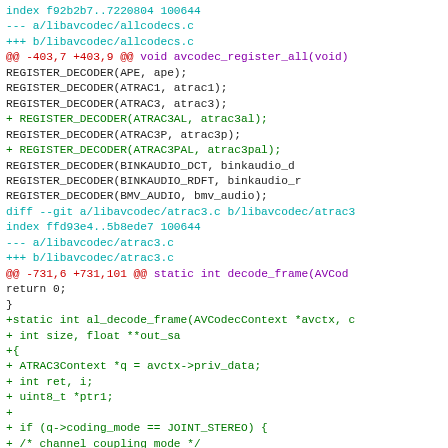[Figure (screenshot): A git diff / code patch showing changes to libavcodec C source files, with colored diff markers: cyan for file headers, red for removed lines, green for added lines, purple for hunk headers.]